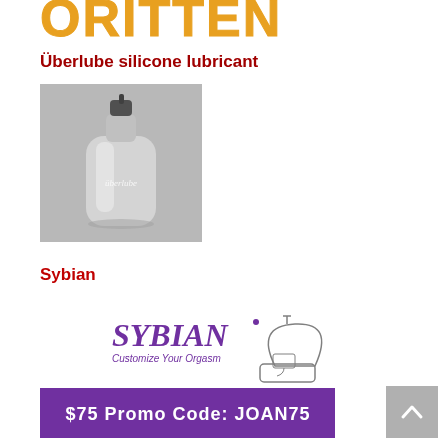ORITTEN
Überlube silicone lubricant
[Figure (photo): Black and white photo of Überlube silicone lubricant bottle — clear glass pump bottle with 'überlube' text on it, pump sprayer top, on grey background]
Sybian
[Figure (photo): Sybian advertisement banner: purple and white logo reading 'SYBIAN Customize Your Orgasm' with a line drawing of the Sybian device. Below is a purple banner reading '$75 Promo Code: JOAN75']